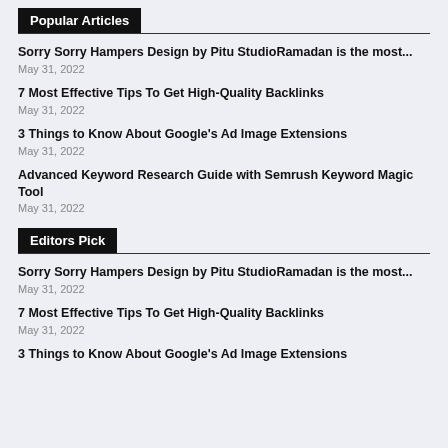Popular Articles
Sorry Sorry Hampers Design by Pitu StudioRamadan is the most...
May 31, 2022
7 Most Effective Tips To Get High-Quality Backlinks
May 31, 2022
3 Things to Know About Google's Ad Image Extensions
May 31, 2022
Advanced Keyword Research Guide with Semrush Keyword Magic Tool
May 31, 2022
Editors Pick
Sorry Sorry Hampers Design by Pitu StudioRamadan is the most...
May 31, 2022
7 Most Effective Tips To Get High-Quality Backlinks
May 31, 2022
3 Things to Know About Google's Ad Image Extensions